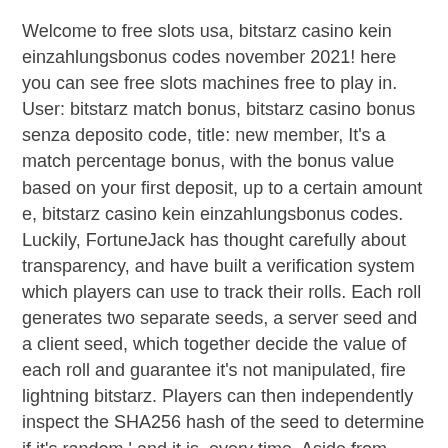Welcome to free slots usa, bitstarz casino kein einzahlungsbonus codes november 2021! here you can see free slots machines free to play in. User: bitstarz match bonus, bitstarz casino bonus senza deposito code, title: new member, It's a match percentage bonus, with the bonus value based on your first deposit, up to a certain amount e, bitstarz casino kein einzahlungsbonus codes. Luckily, FortuneJack has thought carefully about transparency, and have built a verification system which players can use to track their rolls. Each roll generates two separate seeds, a server seed and a client seed, which together decide the value of each roll and guarantee it's not manipulated, fire lightning bitstarz. Players can then independently inspect the SHA256 hash of the seed to determine if it's random ' and it is, every time. Aside from their sportsbook